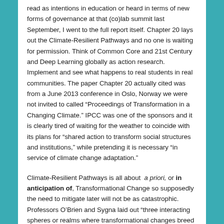read as intentions in education or heard in terms of new forms of governance at that (co)lab summit last September, I went to the full report itself. Chapter 20 lays out the Climate-Resilient Pathways and no one is waiting for permission. Think of Common Core and 21st Century and Deep Learning globally as action research. Implement and see what happens to real students in real communities. The paper Chapter 20 actually cited was from a June 2013 conference in Oslo, Norway we were not invited to called “Proceedings of Transformation in a Changing Climate.” IPCC was one of the sponsors and it is clearly tired of waiting for the weather to coincide with its plans for “shared action to transform social structures and institutions,” while pretending it is necessary “in service of climate change adaptation.”
Climate-Resilient Pathways is all about a priori, or in anticipation of, Transformational Change so supposedly the need to mitigate later will not be as catastrophic. Professors O’Brien and Sygna laid out “three interacting spheres or realms where transformational changes breed uncertainty and is initiated.” The study…